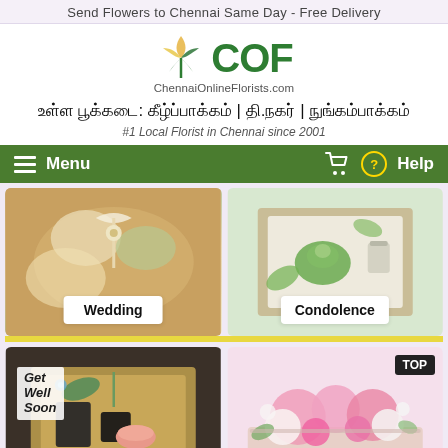Send Flowers to Chennai Same Day - Free Delivery
[Figure (logo): COF ChennaiOnlineFlorists.com logo with flower/leaf graphic in gold and green]
உள்ள பூக்கடை: கீழ்ப்பாக்கம் | தி.நகர் | நுங்கம்பாக்கம்
#1 Local Florist in Chennai since 2001
Menu  Help
[Figure (photo): Wedding flowers gift box with ribbon and white/green flowers]
[Figure (photo): Condolence gift box with succulent plant and candle jar]
[Figure (photo): Get Well Soon gift hamper box with chocolates and macaroon]
[Figure (photo): Pink and white roses bouquet in wooden box, with TOP badge]